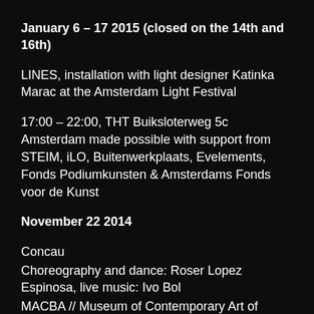January 6 – 17 2015 (closed on the 14th and 16th)
LINES, installation with light designer Katinka Marac at the Amsterdam Light Festival
17:00 – 22:00, THT Buiksloterweg 5c Amsterdam made possible with support from STEIM, iLO, Buitenwerkplaats, Evelements, Fonds Podiumkunsten & Amsterdams Fonds voor de Kunst
November 22 2014
Concau
Choreography and dance: Roser Lopez Espinosa, live music: Ivo Bol
MACBA // Museum of Contemporary Art of Barcelona Barcelona
November 20 2014